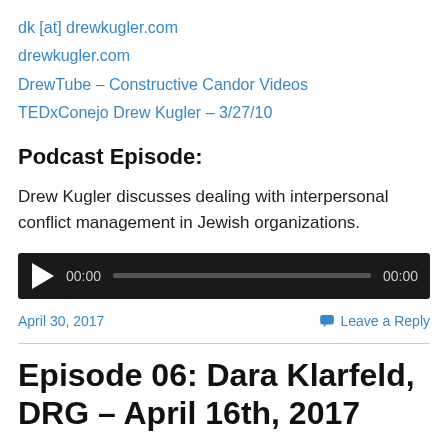dk [at] drewkugler.com
drewkugler.com
DrewTube – Constructive Candor Videos
TEDxConejo Drew Kugler – 3/27/10
Podcast Episode:
Drew Kugler discusses dealing with interpersonal conflict management in Jewish organizations.
[Figure (other): Audio player with play button, time display 00:00, progress bar, and end time 00:00 on dark background]
April 30, 2017    Leave a Reply
Episode 06: Dara Klarfeld, DRG – April 16th, 2017